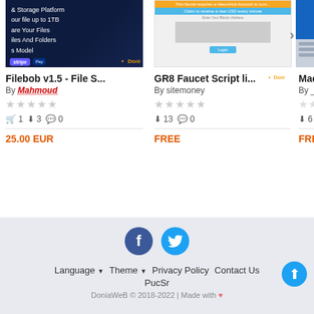[Figure (screenshot): Product card image for Filebob v1.5 - dark themed file storage platform with Stripe and PayPal logos]
Filebob v1.5 - File S...
By Mahmoud
★★★★★ (empty stars)
🛒 1  ↓ 3  💬 0
25.00 EUR
[Figure (screenshot): Product card image for GR8 Faucet Script - Bitcoin faucet UI screenshot]
GR8 Faucet Script li...
By sitemoney
★★★★★ (empty stars)
↓ 13  💬 0
FREE
[Figure (screenshot): Product card image for MachFo - partial blue/white UI screenshot]
MachFo...
By _HAC...
★★☆☆☆
↓ 6
FREE
[Figure (infographic): Social media icons: Facebook (dark blue circle) and Twitter (light blue circle)]
Language ▼  Theme ▼  Privacy Policy  Contact Us  PucSr  DoniaWeB © 2018-2022 | Made with ♥